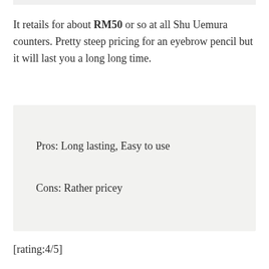It retails for about RM50 or so at all Shu Uemura counters. Pretty steep pricing for an eyebrow pencil but it will last you a long long time.
Pros: Long lasting, Easy to use
Cons: Rather pricey
[rating:4/5]